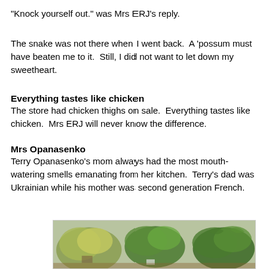"Knock yourself out." was Mrs ERJ's reply.
The snake was not there when I went back.  A 'possum must have beaten me to it.  Still, I did not want to let down my sweetheart.
Everything tastes like chicken
The store had chicken thighs on sale.  Everything tastes like chicken.  Mrs ERJ will never know the difference.
Mrs Opanasenko
Terry Opanasenko's mom always had the most mouth-watering smells emanating from her kitchen.  Terry's dad was Ukrainian while his mother was second generation French.
[Figure (photo): Photograph of several potted herb plants with green foliage, viewed from above on a light background.]